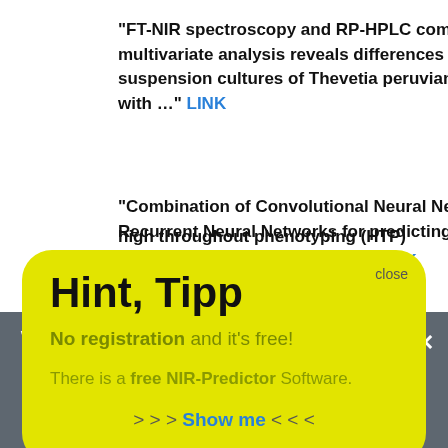“FT-NIR spectroscopy and RP-HPLC combined with multivariate analysis reveals differences in plant cell suspension cultures of Thevetia peruviana treated with …” LINK
“Combination of Convolutional Neural Networks and Recurrent Neural Networks for predicting soil properties using vis–NIR spectroscopy”
Hint, Tipp
No registration and it’s free!
There is a free NIR-Predictor Software.
> > > Show me < < <
high throughout phenotyping (HTP) for cassava and yam: A review” LINK
“Near infrared spectroscopy for rapid determination of solids content of amines” LINK
We use cookies to ensure that we give you the best experience on our website. If you continue to use this site we will assume that you are happy with it.